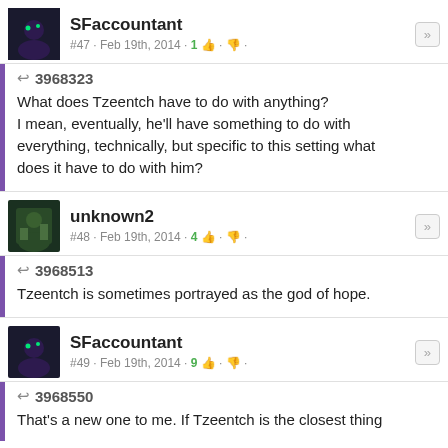SFaccountant #47 · Feb 19th, 2014 · 1 [like] [dislike]
↩ 3968323
What does Tzeentch have to do with anything? I mean, eventually, he'll have something to do with everything, technically, but specific to this setting what does it have to do with him?
unknown2 #48 · Feb 19th, 2014 · 4 [like] [dislike]
↩ 3968513
Tzeentch is sometimes portrayed as the god of hope.
SFaccountant #49 · Feb 19th, 2014 · 9 [like] [dislike]
↩ 3968550
That's a new one to me. If Tzeentch is the closest thing